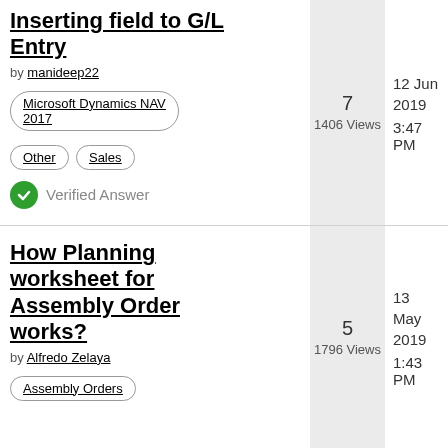Inserting field to G/L Entry
by manideep22
Microsoft Dynamics NAV 2017
Other  Sales
Verified Answer
7
1406 Views
12 Jun 2019  3:47 PM
How Planning worksheet for Assembly Order works?
by Alfredo Zelaya
Assembly Orders
5
1796 Views
13 May 2019  1:43 PM